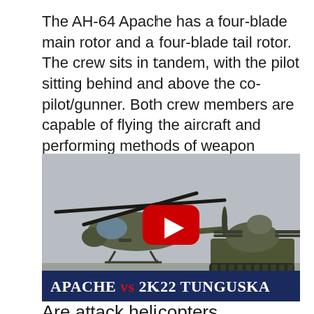The AH-64 Apache has a four-blade main rotor and a four-blade tail rotor. The crew sits in tandem, with the pilot sitting behind and above the co-pilot/gunner. Both crew members are capable of flying the aircraft and performing methods of weapon engagements independently.
[Figure (screenshot): Video thumbnail showing an AH-64 Apache helicopter on the left and a 2K22 Tunguska armored vehicle on the right, with a YouTube play button in the center. A dark blue banner at the bottom reads 'APACHE vs 2K22 TUNGUSKA' in uppercase serif font with 'vs' in red.]
Are attack helicopters